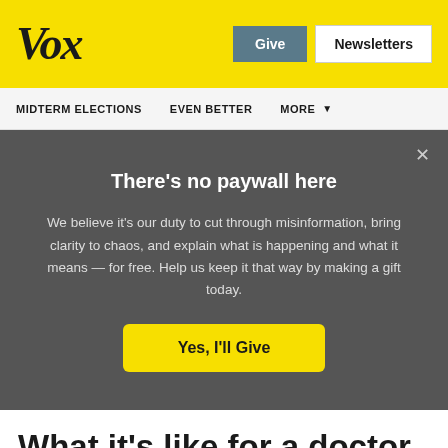Vox
Give  Newsletters
MIDTERM ELECTIONS   EVEN BETTER   MORE
There's no paywall here
We believe it's our duty to cut through misinformation, bring clarity to chaos, and explain what is happening and what it means — for free. Help us keep it that way by making a gift today.
Yes, I'll Give
What it's like for a doctor treating coronavirus, in one Twitter